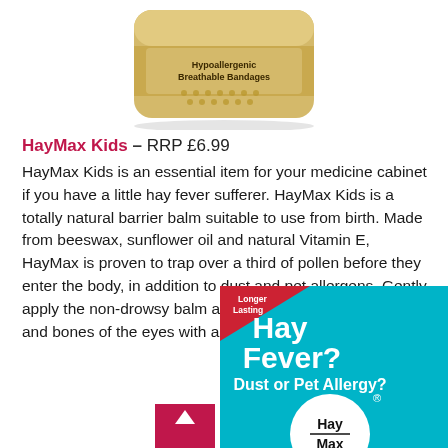[Figure (photo): Product image of a gold/tan cylindrical bandage tin with text 'Hypoallergenic Breathable Bandages' on the label, partially cropped at top of page]
HayMax Kids – RRP £6.99
HayMax Kids is an essential item for your medicine cabinet if you have a little hay fever sufferer. HayMax Kids is a totally natural barrier balm suitable to use from birth. Made from beeswax, sunflower oil and natural Vitamin E, HayMax is proven to trap over a third of pollen before they enter the body, in addition to dust and pet allergens. Gently apply the non-drowsy balm around the rim of the nostrils and bones of the eyes with a finger.
[Figure (photo): HayMax product box/packaging with turquoise blue background, red corner triangle reading 'Longer Lasting', large white text saying 'Hay Fever? Dust or Pet Allergy?', and a white circle with black 'HayMax' logo. A pink/magenta triangular element is partially visible at the bottom left.]